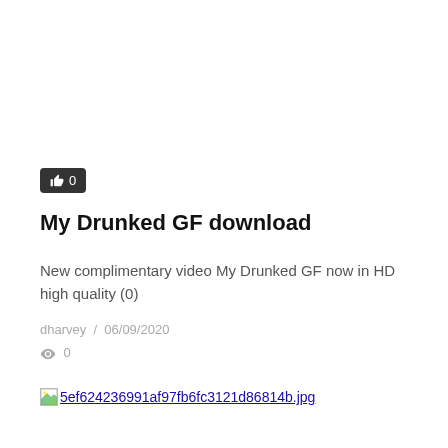[Figure (other): Like button with thumbs up icon and count 0]
My Drunked GF download
New complimentary video My Drunked GF now in HD high quality (0)
dharvey  /  06/09/2020
👁 0
[Figure (other): Broken image placeholder with filename 5ef624236991af97fb6fc3121d86814b.jpg]